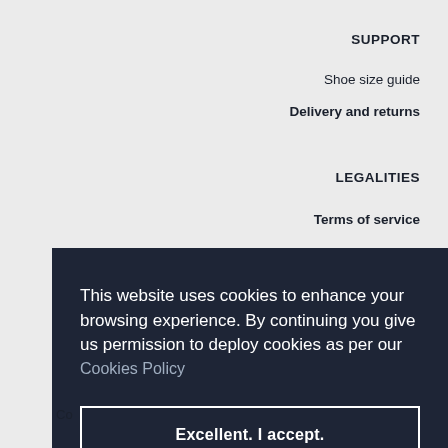SUPPORT
Shoe size guide
Delivery and returns
LEGALITIES
Terms of service
This website uses cookies to enhance your browsing experience. By continuing you give us permission to deploy cookies as per our Cookies Policy
Excellent. I accept.